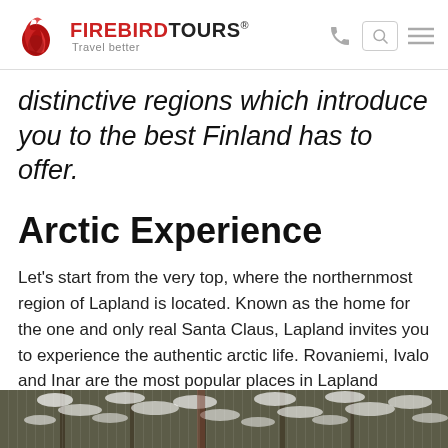FIREBIRDTOURS® — Travel better
distinctive regions which introduce you to the best Finland has to offer.
Arctic Experience
Let's start from the very top, where the northernmost region of Lapland is located. Known as the home for the one and only real Santa Claus, Lapland invites you to experience the authentic arctic life. Rovaniemi, Ivalo and Inar are the most popular places in Lapland offering an astounding variety of tourist attractions.
[Figure (photo): Snowy winter forest scene with snow-covered tree branches, partially visible at bottom of page]